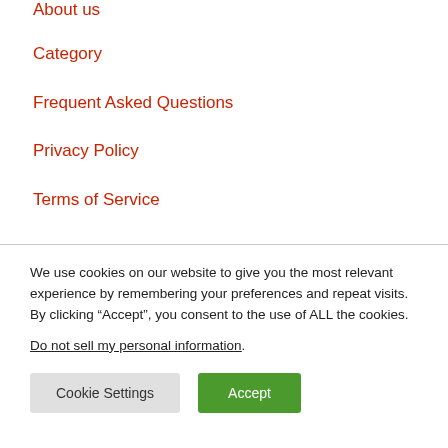About us
Category
Frequent Asked Questions
Privacy Policy
Terms of Service
We use cookies on our website to give you the most relevant experience by remembering your preferences and repeat visits. By clicking “Accept”, you consent to the use of ALL the cookies.
Do not sell my personal information.
Cookie Settings
Accept